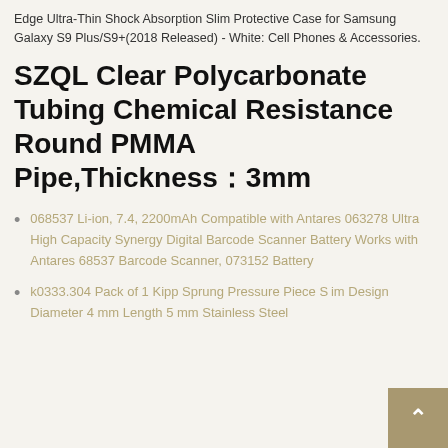Edge Ultra-Thin Shock Absorption Slim Protective Case for Samsung Galaxy S9 Plus/S9+(2018 Released) - White: Cell Phones & Accessories.
SZQL Clear Polycarbonate Tubing Chemical Resistance Round PMMA Pipe,Thickness：3mm
068537 Li-ion, 7.4, 2200mAh Compatible with Antares 063278 Ultra High Capacity Synergy Digital Barcode Scanner Battery Works with Antares 68537 Barcode Scanner, 073152 Battery
k0333.304 Pack of 1 Kipp Sprung Pressure Piece Slim Design Diameter 4 mm Length 5 mm Stainless Steel